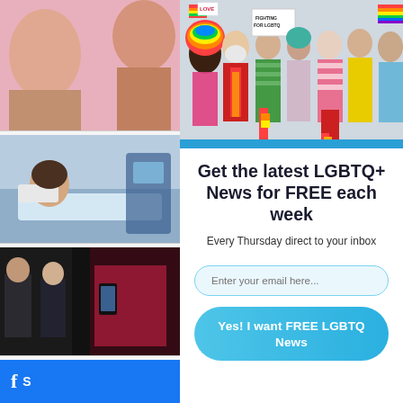[Figure (photo): Screenshot of a webpage with a newsletter signup popup. Left column shows thumbnail images. Right panel shows a group of colorful LGBTQ+ pride activists at the top, followed by newsletter signup text and email form.]
Get the latest LGBTQ+ News for FREE each week
Every Thursday direct to your inbox
Enter your email here...
Yes! I want FREE LGBTQ News